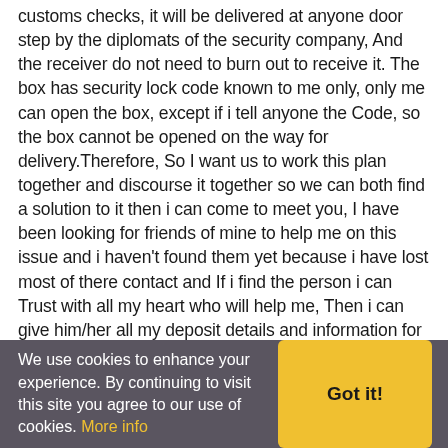customs checks, it will be delivered at anyone door step by the diplomats of the security company, And the receiver do not need to burn out to receive it. The box has security lock code known to me only, only me can open the box, except if i tell anyone the Code, so the box cannot be opened on the way for delivery.Therefore, So I want us to work this plan together and discourse it together so we can both find a solution to it then i can come to meet you, I have been looking for friends of mine to help me on this issue and i haven't found them yet because i have lost most of there contact and If i find the person i can Trust with all my heart who will help me, Then i can give him/her all my deposit details and information for them to make the Clearance from the Security Company as my family, friend of Fiansce if possible who is to receive my box for
We use cookies to enhance your experience. By continuing to visit this site you agree to our use of cookies. More info